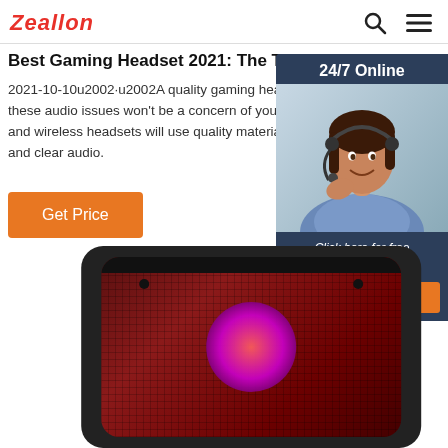Zeallon
Best Gaming Headset 2021: The Top Wired and Wireless ...
2021-10-10u2002·u2002A quality gaming headset can help ensure these audio issues won't be a concern of yours. T... and wireless headsets will use quality materials t... and clear audio.
24/7 Online
[Figure (photo): Customer service representative woman wearing headset, smiling]
Click here for free chat !
QUOTATION
Get Price
[Figure (photo): Black portable speaker with red grille and LED light in center]